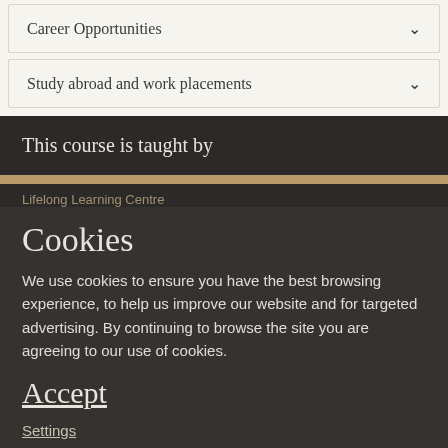Career Opportunities
Study abroad and work placements
This course is taught by
Lifelong Learning Centre
Cookies
We use cookies to ensure you have the best browsing experience, to help us improve our website and for targeted advertising. By continuing to browse the site you are agreeing to our use of cookies.
Accept
Settings
Find out more
Share this page
Course terms and conditions   Back to top